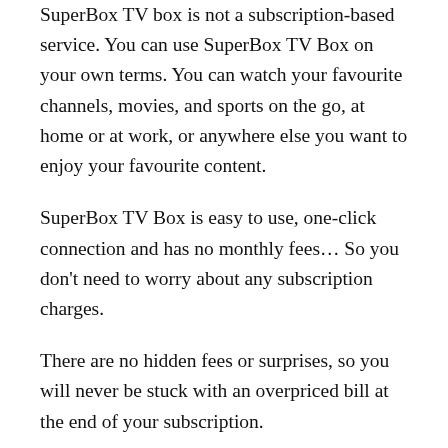SuperBox TV box is not a subscription-based service. You can use SuperBox TV Box on your own terms. You can watch your favourite channels, movies, and sports on the go, at home or at work, or anywhere else you want to enjoy your favourite content.
SuperBox TV Box is easy to use, one-click connection and has no monthly fees… So you don't need to worry about any subscription charges.
There are no hidden fees or surprises, so you will never be stuck with an overpriced bill at the end of your subscription.
What to Consider When Paying for a Superbox tv Box